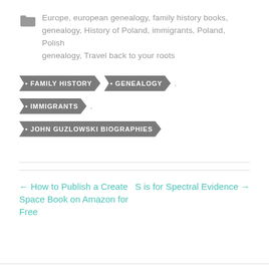Europe, european genealogy, family history books, genealogy, History of Poland, immigrants, Poland, Polish genealogy, Travel back to your roots
FAMILY HISTORY
GENEALOGY
IMMIGRANTS
JOHN GUZLOWSKI BIOGRAPHIES
← How to Publish a Create Space Book on Amazon for Free
S is for Spectral Evidence →